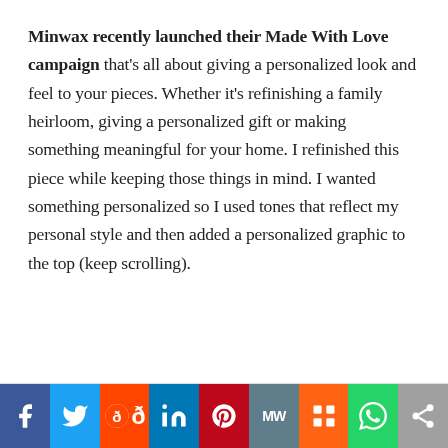Minwax recently launched their Made With Love campaign that's all about giving a personalized look and feel to your pieces. Whether it's refinishing a family heirloom, giving a personalized gift or making something meaningful for your home. I refinished this piece while keeping those things in mind. I wanted something personalized so I used tones that reflect my personal style and then added a personalized graphic to the top (keep scrolling).
[Figure (infographic): Social media sharing bar with buttons for Facebook, Twitter, Reddit, LinkedIn, Pinterest, MixW, Mix, WhatsApp, and Share]